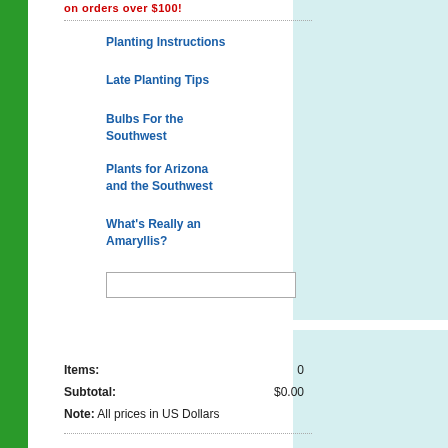on orders over $100!
Planting Instructions
Late Planting Tips
Bulbs For the Southwest
Plants for Arizona and the Southwest
What's Really an Amaryllis?
Items: 0
Subtotal: $0.00
Note: All prices in US Dollars